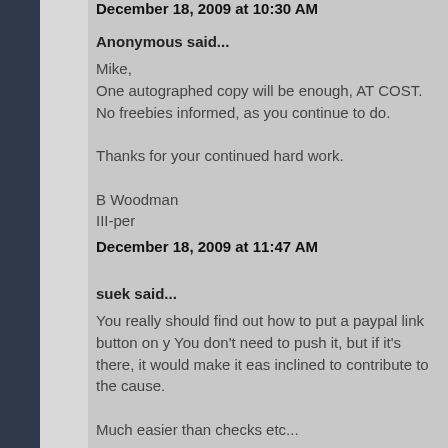December 18, 2009 at 10:30 AM
Anonymous said...
Mike,
One autographed copy will be enough, AT COST. No freebies informed, as you continue to do.

Thanks for your continued hard work.

B Woodman
Ill-per
December 18, 2009 at 11:47 AM
suek said...
You really should find out how to put a paypal link button on y You don't need to push it, but if it's there, it would make it eas inclined to contribute to the cause.

Much easier than checks etc...
December 18, 2009 at 12:44 PM